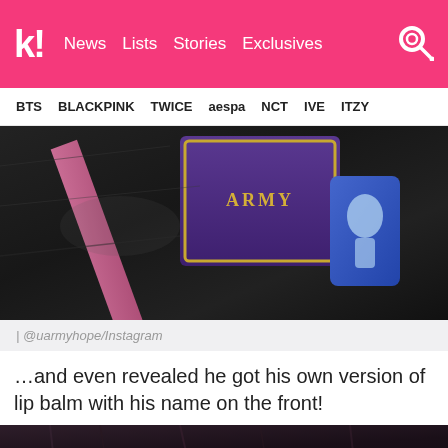k! News Lists Stories Exclusives
BTS BLACKPINK TWICE aespa NCT IVE ITZY
[Figure (photo): Dark background with a purple velvet book/notebook labeled ARMY and a blue lip balm package, with a pink ribbon visible]
| @uarmyhope/Instagram
…and even revealed he got his own version of lip balm with his name on the front!
[Figure (photo): Close-up of dark hair with a purple crocheted or knitted triangular item visible at bottom]